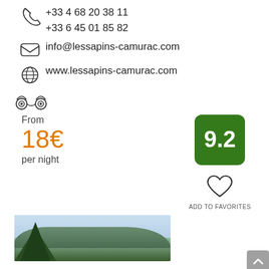+33 4 68 20 38 11
+33 6 45 01 85 82
info@lessapins-camurac.com
www.lessapins-camurac.com
[Figure (logo): TripAdvisor owl logo icon]
9.2
From
18€
per night
[Figure (illustration): Heart/favorites icon with ADD TO FAVORITES label]
[Figure (photo): Outdoor photo showing trees and mountains]